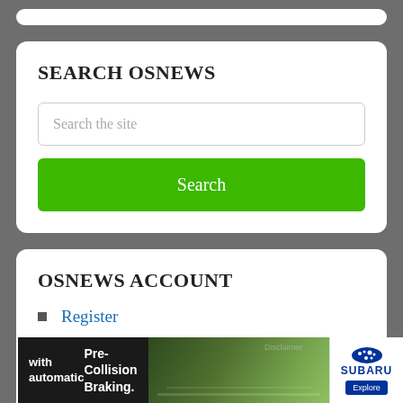SEARCH OSNEWS
Search the site
Search
OSNEWS ACCOUNT
Register
Log in
[Figure (screenshot): Subaru advertisement banner with text 'with automatic Pre-Collision Braking.' and image of car on road, Subaru logo and Explore button]